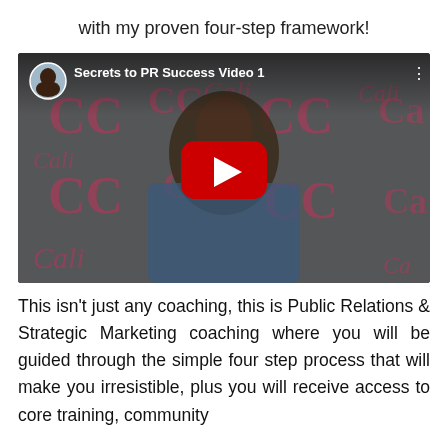with my proven four-step framework!
[Figure (screenshot): YouTube-style embedded video thumbnail showing a woman in a blue patterned top seated in front of a branded CC (Cali Communications) step-and-repeat banner. A red YouTube play button is centered on the video. The video title bar at the top reads 'Secrets to PR Success Video 1' with a circular avatar photo and a three-dot menu icon.]
This isn't just any coaching, this is Public Relations & Strategic Marketing coaching where you will be guided through the simple four step process that will make you irresistible, plus you will receive access to core training, community